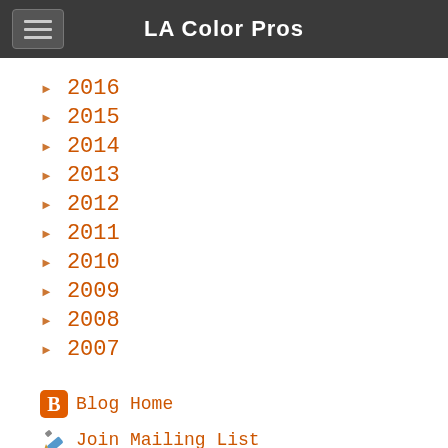LA Color Pros
2016
2015
2014
2013
2012
2011
2010
2009
2008
2007
Blog Home
Join Mailing List